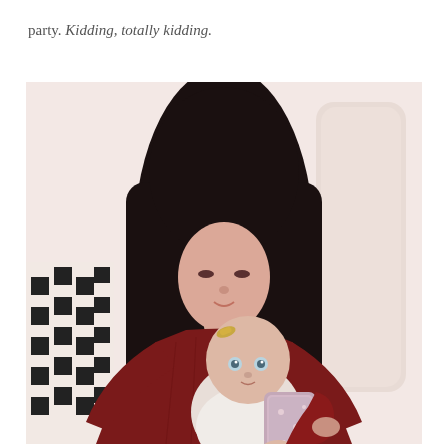party. Kidding, totally kidding.
[Figure (photo): A woman with long dark hair wearing a dark red/maroon sweater sits holding a baby. The baby is looking toward the camera while the woman looks down at the baby. There is a black and white geometric patterned pillow to the left and a light-colored chair/couch visible in the background. The background is a soft pinkish-white.]